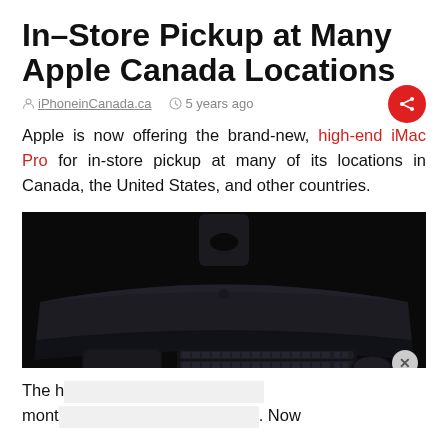In-Store Pickup at Many Apple Canada Locations
iPhoneinCanada.ca   5 years ago
Apple is now offering the brand-new, high-end iMac Pro for in-store pickup at many of its locations in Canada, the United States, and other countries.
[Figure (photo): Top-down view of the iMac Pro in space gray with keyboard and trackpad on a dark background]
The h... month... . Now